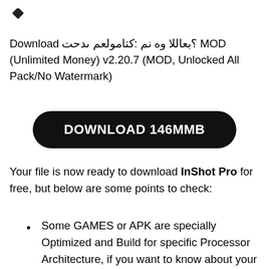[Figure (logo): Small diamond/rhombus shaped dark icon in top left corner]
Download تحدى معلوماتك: من هو اللاعب؟ MOD (Unlimited Money) v2.20.7 (MOD, Unlocked All Pack/No Watermark)
[Figure (other): Black rounded rectangle button with white text: DOWNLOAD 146MMB]
Your file is now ready to download InShot Pro for free, but below are some points to check:
Some GAMES or APK are specially Optimized and Build for specific Processor Architecture, if you want to know about your CPU and GPU please Use CP ×